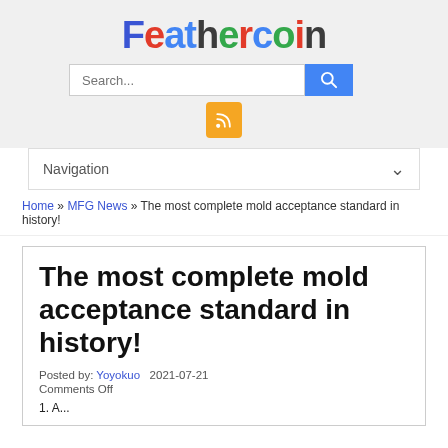Feathercoin
Search...
Navigation
Home » MFG News » The most complete mold acceptance standard in history!
The most complete mold acceptance standard in history!
Posted by: Yoyokuo   2021-07-21
Comments Off
1. A...